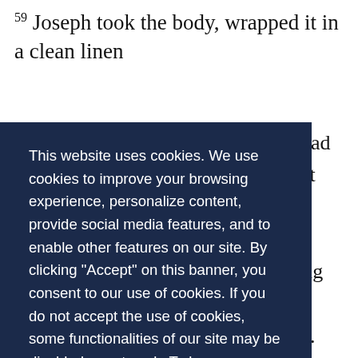59 Joseph took the body, wrapped it in a clean linen
e had
e at
or
ning
lay.
his
with
build
skills)
[Figure (screenshot): Cookie consent banner overlay with dark navy background. Text reads: 'This website uses cookies. We use cookies to improve your browsing experience, personalize content, provide social media features, and to enable other features on our site. By clicking "Accept" on this banner, you consent to our use of cookies. If you do not accept the use of cookies, some functionalities of our site may be disabled or not work. To learn more about the information we collect and how we use it, please review our Privacy Policy'. Two buttons: Decline and Accept (red).]
through play. Executive function develops better